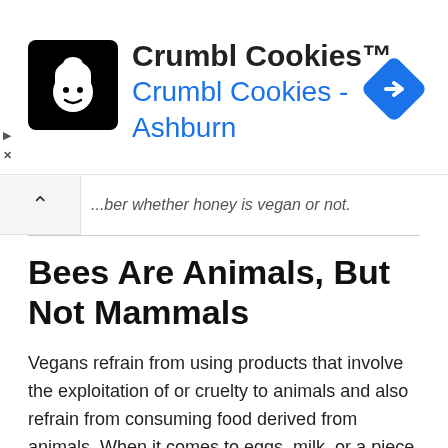[Figure (screenshot): Advertisement banner for Crumbl Cookies with logo, text 'Crumbl Cookies™', subtitle 'Crumbl Cookies - Ashburn', and a blue diamond navigation icon on the right.]
...ber whether honey is vegan or not.
Bees Are Animals, But Not Mammals
Vegans refrain from using products that involve the exploitation of or cruelty to animals and also refrain from consuming food derived from animals. When it comes to eggs, milk, or a piece of meat, there is no disputing the animal origins of the products in question. Some people, however, appear to struggle with the concept that bees (and indeed all insects) are, in fact, animals.